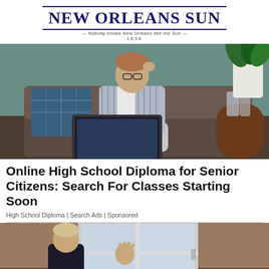NEW ORLEANS SUN — Nobody knows New Orleans like the Sun — 1838
[Figure (photo): Older person sitting on a couch with a laptop, looking stressed, hand on head, with a plant and glasses on in a teal-walled room]
Online High School Diploma for Senior Citizens: Search For Classes Starting Soon
High School Diploma | Search Ads | Sponsored
[Figure (photo): Young child with short hair looking out a window, hand pressed against the glass, outdoor view visible]